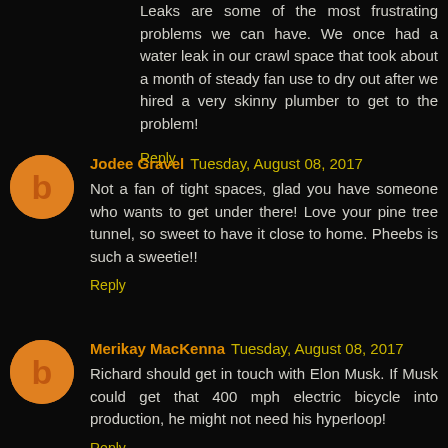Leaks are some of the most frustrating problems we can have. We once had a water leak in our crawl space that took about a month of steady fan use to dry out after we hired a very skinny plumber to get to the problem!
Reply
Jodee Gravel  Tuesday, August 08, 2017
Not a fan of tight spaces, glad you have someone who wants to get under there! Love your pine tree tunnel, so sweet to have it close to home. Pheebs is such a sweetie!!
Reply
Merikay MacKenna  Tuesday, August 08, 2017
Richard should get in touch with Elon Musk. If Musk could get that 400 mph electric bicycle into production, he might not need his hyperloop!
Reply